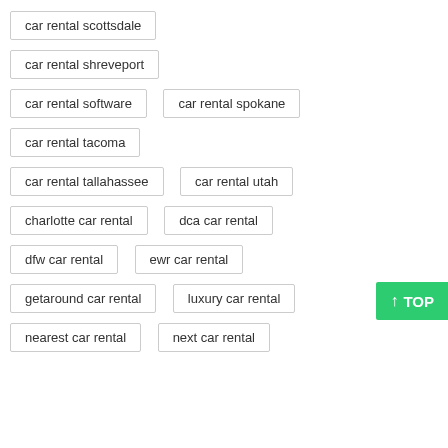car rental scottsdale
car rental shreveport
car rental software
car rental spokane
car rental tacoma
car rental tallahassee
car rental utah
charlotte car rental
dca car rental
dfw car rental
ewr car rental
getaround car rental
luxury car rental
nearest car rental
next car rental